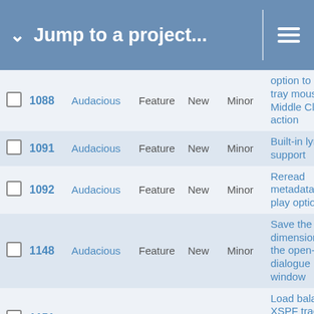Jump to a project...
|  | ID | Project | Type | Status | Priority | Description |
| --- | --- | --- | --- | --- | --- | --- |
|  | 1088 | Audacious | Feature | New | Minor | option to select tray mouse Middle Click action |
|  | 1091 | Audacious | Feature | New | Minor | Built-in lyrics support |
|  | 1092 | Audacious | Feature | New | Minor | Reread metadata on play option |
|  | 1148 | Audacious | Feature | New | Minor | Save the dimensions of the open-file dialogue window |
|  | 1151 | Audacious | Feature | New | Minor | Load balance XSPF tracks with multiple location URIs |
|  | 1098 | Audacious | Feature | New | Minor | Hide empty Services playlist sub-menu |
|  |  |  |  |  |  | Make the Song |